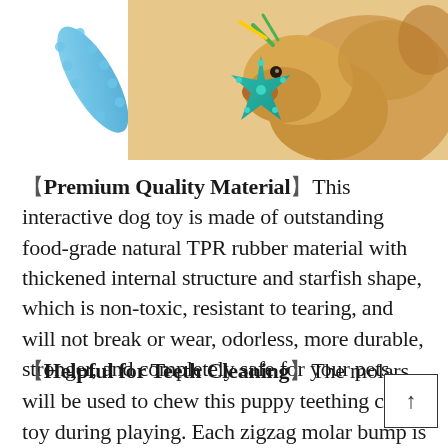[Figure (photo): Product photo showing a blue elongated dog chew toy on the left, and a golden retriever dog chewing a teal starfish-shaped rubber toy on the right with green and yellow motion indicators]
【Premium Quality Material】This interactive dog toy is made of outstanding food-grade natural TPR rubber material with thickened internal structure and starfish shape, which is non-toxic, resistant to tearing, and will not break or wear, odorless, more durable, stronger, and completely safe for your pets.
【Helpful for Teeth Cleaning】The molars will be used to chew this puppy teething chew toy during playing. Each zigzag molar bump is